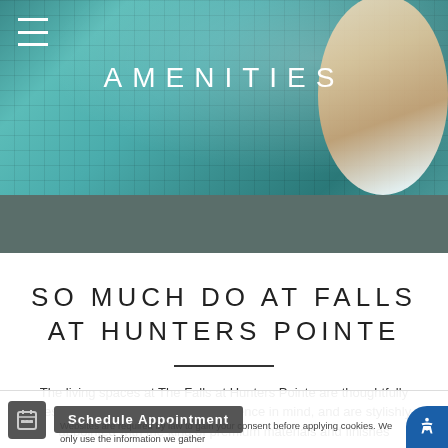[Figure (photo): Aerial view of a swimming pool with teal blue water and tile pattern; person visible at right edge wearing white swimsuit and hat, floating on inflatable]
AMENITIES
SO MUCH DO AT FALLS AT HUNTERS POINTE
The living spaces at The Falls at Hunters Pointe are thoughtfully designed with comfort and convenience in mind, and are stylishly appointed with the kind of premium materials and finishes...
Websites are required by law to gain your consent before applying cookies. We only use the information we gather
Schedule Appointment